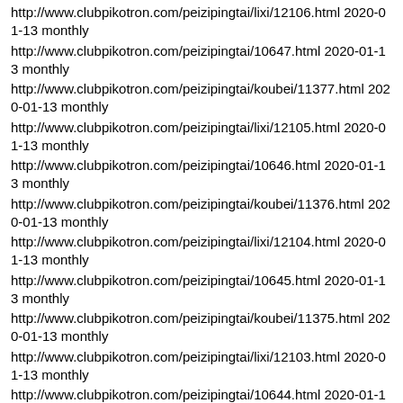http://www.clubpikotron.com/peizipingtai/lixi/12106.html 2020-01-13 monthly
http://www.clubpikotron.com/peizipingtai/10647.html 2020-01-13 monthly
http://www.clubpikotron.com/peizipingtai/koubei/11377.html 2020-01-13 monthly
http://www.clubpikotron.com/peizipingtai/lixi/12105.html 2020-01-13 monthly
http://www.clubpikotron.com/peizipingtai/10646.html 2020-01-13 monthly
http://www.clubpikotron.com/peizipingtai/koubei/11376.html 2020-01-13 monthly
http://www.clubpikotron.com/peizipingtai/lixi/12104.html 2020-01-13 monthly
http://www.clubpikotron.com/peizipingtai/10645.html 2020-01-13 monthly
http://www.clubpikotron.com/peizipingtai/koubei/11375.html 2020-01-13 monthly
http://www.clubpikotron.com/peizipingtai/lixi/12103.html 2020-01-13 monthly
http://www.clubpikotron.com/peizipingtai/10644.html 2020-01-11 monthly
http://www.clubpikotron.com/peizipingtai/koubei/11374.html 2020-01-13 monthly
http://www.clubpikotron.com/peizipingtai/lixi/12102.html 2020-01-13 monthly